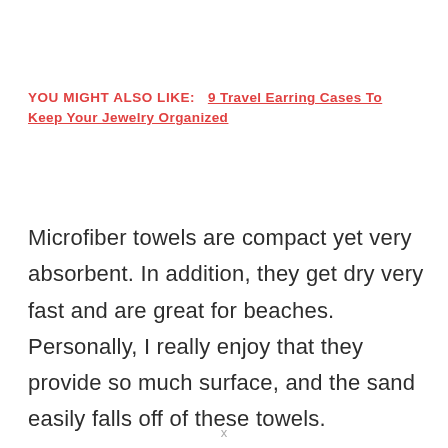YOU MIGHT ALSO LIKE:   9 Travel Earring Cases To Keep Your Jewelry Organized
Microfiber towels are compact yet very absorbent. In addition, they get dry very fast and are great for beaches. Personally, I really enjoy that they provide so much surface, and the sand easily falls off of these towels.
x